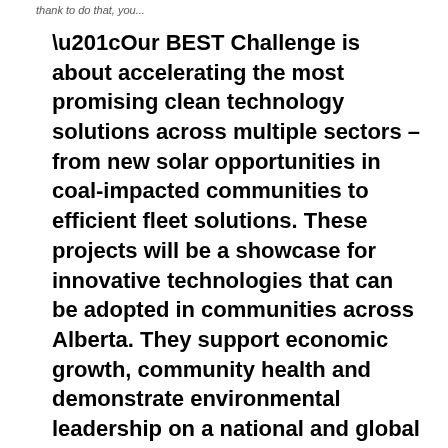thank to do that, you...
“Our BEST Challenge is about accelerating the most promising clean technology solutions across multiple sectors – from new solar opportunities in coal-impacted communities to efficient fleet solutions. These projects will be a showcase for innovative technologies that can be adopted in communities across Alberta. They support economic growth, community health and demonstrate environmental leadership on a national and global